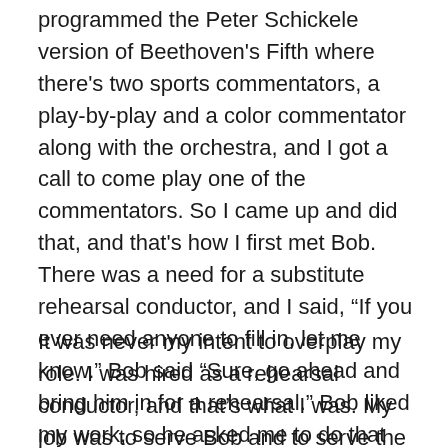programmed the Peter Schickele version of Beethoven's Fifth where there's two sports commentators, a play-by-play and a color commentator along with the orchestra, and I got a call to come play one of the commentators. So I came up and did that, and that's how I first met Bob. There was a need for a substitute rehearsal conductor, and I said, “If you ever need anyone to fill in, let me know.” Bob said “Sure, go ahead and bring him in for a rehearsal.” Bob liked my work, so he asked me to do that again in the next season. He continued to like my work until he was using me exclusively [for rehearsals].
It was never my intent to overplay my role. I was hired as a rehearsal conductor, and that’s what I was. My job was to serve Bob and to serve the orchestra, and to get them ready for him coming in. And I was always really happy in that role.